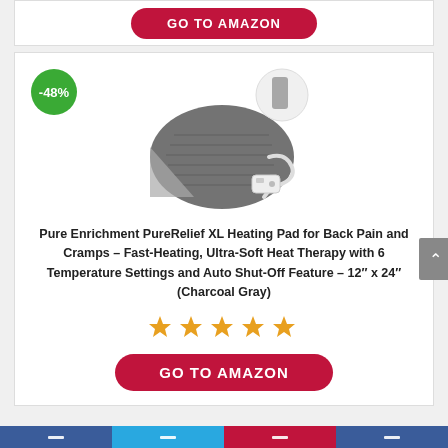[Figure (other): GO TO AMAZON button (red pill-shaped button) at top of page]
[Figure (photo): Product photo of Pure Enrichment PureRelief XL Heating Pad, charcoal gray color, with controller and cord, -48% badge overlay]
Pure Enrichment PureRelief XL Heating Pad for Back Pain and Cramps – Fast-Heating, Ultra-Soft Heat Therapy with 6 Temperature Settings and Auto Shut-Off Feature – 12″ x 24″ (Charcoal Gray)
[Figure (other): 5 gold star rating icons]
[Figure (other): GO TO AMAZON button (red pill-shaped button) at bottom of card]